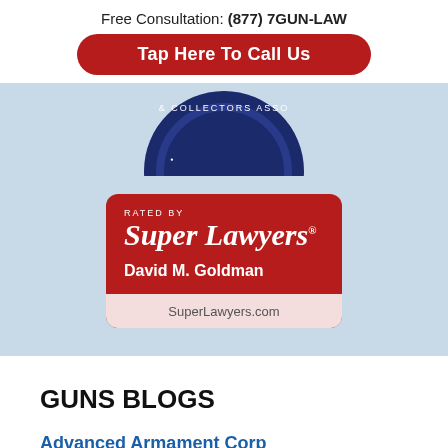Free Consultation: (877) 7GUN-LAW
Tap Here To Call Us
[Figure (logo): Partial circular badge/seal logo for a Collectors Association, navy blue and white]
[Figure (logo): Super Lawyers badge rated by Super Lawyers, David M. Goldman, SuperLawyers.com]
GUNS BLOGS
Advanced Armament Corp